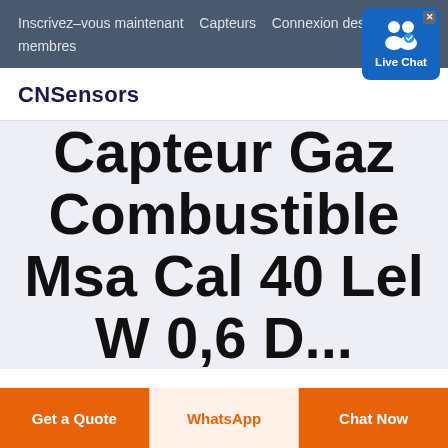Inscrivez–vous maintenant   Capteurs   Connexion des membres
CNSensors
[Figure (other): Live Chat badge icon with two person silhouettes and blue background]
Capteur Gaz Combustible Msa Cal 40 Lel W 0,6 D...
Get a Quote
WhatsApp
Chat Now